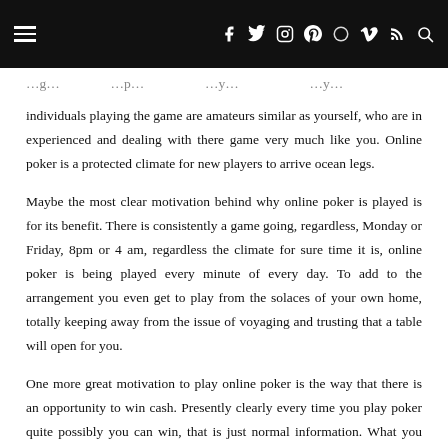≡  f  t  ☁  ℗  ●  v  ⌇  🔍
individuals playing the game are amateurs similar as yourself, who are in experienced and dealing with there game very much like you. Online poker is a protected climate for new players to arrive ocean legs.
Maybe the most clear motivation behind why online poker is played is for its benefit. There is consistently a game going, regardless, Monday or Friday, 8pm or 4 am, regardless the climate for sure time it is, online poker is being played every minute of every day. To add to the arrangement you even get to play from the solaces of your own home, totally keeping away from the issue of voyaging and trusting that a table will open for you.
One more great motivation to play online poker is the way that there is an opportunity to win cash. Presently clearly every time you play poker quite possibly you can win, that is just normal information. What you might not have known is there is heaps of cash to be made in web-based